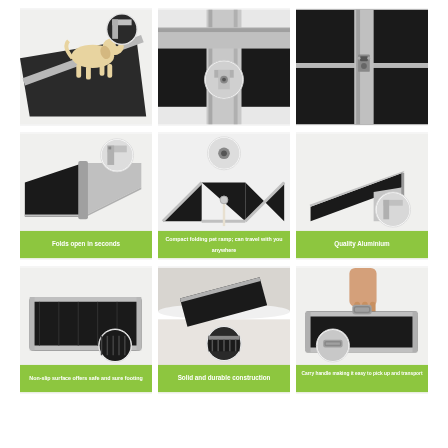[Figure (photo): Dog standing on a pet ramp, with a circular detail inset showing the ramp surface corner]
[Figure (photo): Close-up of aluminium pet ramp corner joint, with circular inset detail of the latch/hinge mechanism]
[Figure (photo): Close-up detail of the pet ramp latch/clasp mechanism on the aluminium frame corner]
[Figure (photo): Pet ramp folded open at an angle showing the hinge, with circular inset detail of the aluminium corner joint]
[Figure (photo): Pet ramp fully unfolded and spread open in a V/W shape showing the folding mechanism, with circular inset detail of the center hinge]
[Figure (photo): Pet ramp folded into a compact L-shape, with circular inset showing aluminium corner detail]
[Figure (photo): Pet ramp lying flat (closed/folded position), with circular inset showing the non-slip surface texture]
[Figure (photo): Pet ramp in use leading up to a car, with circular inset showing the non-slip surface and ramp end detail]
[Figure (photo): Person carrying the pet ramp by a handle, with circular inset showing the carry handle detail]